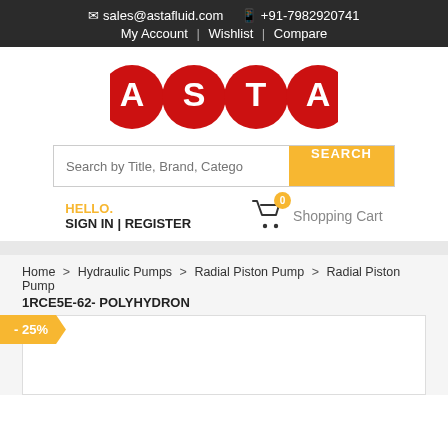✉ sales@astafluid.com  📱 +91-7982920741
My Account | Wishlist | Compare
[Figure (logo): ASTA logo with four red circles each containing a white letter: A, S, T, A]
Search by Title, Brand, Category...  SEARCH
HELLO.
SIGN IN | REGISTER
0  Shopping Cart
Home > Hydraulic Pumps > Radial Piston Pump > Radial Piston Pump 1RCE5E-62- POLYHYDRON
- 25%